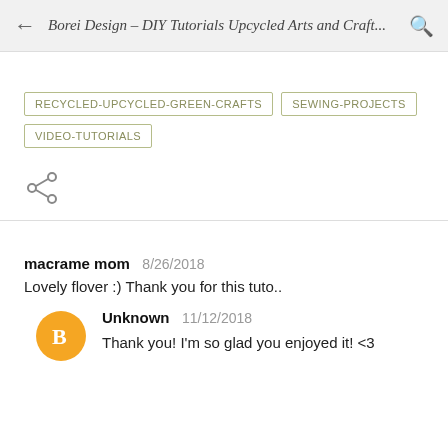Borei Design – DIY Tutorials Upcycled Arts and Craft...
RECYCLED-UPCYCLED-GREEN-CRAFTS
SEWING-PROJECTS
VIDEO-TUTORIALS
[Figure (other): Share icon (less-than style share symbol)]
macrame mom  8/26/2018
Lovely flover :) Thank you for this tuto..
Unknown  11/12/2018
Thank you! I'm so glad you enjoyed it! <3